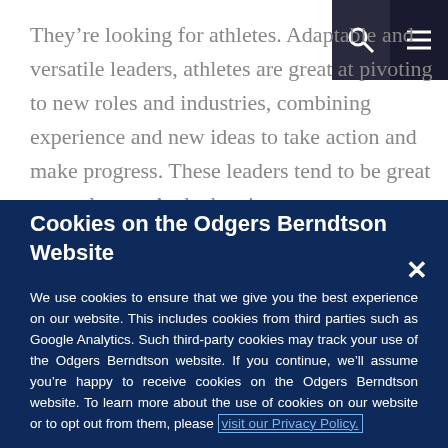They're looking for athletes. Adaptable and versatile leaders, athletes are great at pivoting to new roles and industries, combining experience and new ideas to take action and make progress. These leaders tend to be great team players. And when it
Cookies on the Odgers Berndtson Website
We use cookies to ensure that we give you the best experience on our website. This includes cookies from third parties such as Google Analytics. Such third-party cookies may track your use of the Odgers Berndtson website. If you continue, we'll assume you're happy to receive cookies on the Odgers Berndtson website. To learn more about the use of cookies on our website or to opt out from them, please visit our Privacy Policy.